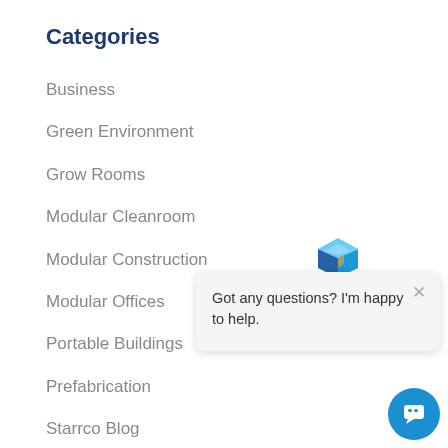Categories
Business
Green Environment
Grow Rooms
Modular Cleanroom
Modular Construction
Modular Offices
Portable Buildings
Prefabrication
Starrco Blog
Tall Walls
[Figure (screenshot): Chat widget popup with cube logo icon and text 'Got any questions? I'm happy to help.' with a close button and a blue chat button circle in the bottom right.]